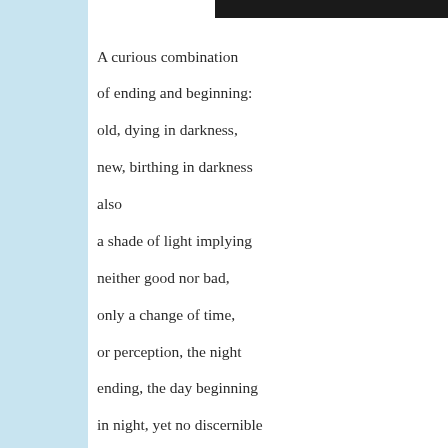A curious combination
of ending and beginning:
old, dying in darkness,
new, birthing in darkness
also
a shade of light implying
neither good nor bad,
only a change of time,
or perception, the night
ending, the day beginning
in night, yet no discernible
difference except we change
and the glass slipper
remains the same.
This poem is submitted for the Warrior Poet Society hosted by J. Impact. To see more poems based on the prompt "Midnight," pl...
Photograph: Moonlight Landscape by Petr Kratochvil via Public... permission.